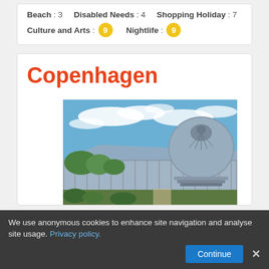Beach : 3   Disabled Needs : 4   Shopping Holiday : 7   Culture and Arts : 9   Nightlife : 9
Copenhagen
[Figure (photo): Photograph of a large glass greenhouse or botanical garden building with a circular domed structure, blue sky with white clouds, green gardens in foreground]
We use anonymous cookies to enhance site navigation and analyse site usage. Privacy policy.